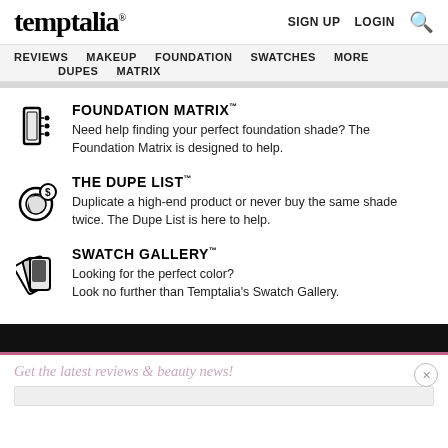temptalia® — SIGN UP  LOGIN  🔍
REVIEWS  MAKEUP  FOUNDATION  SWATCHES  MORE  DUPES  MATRIX
FOUNDATION MATRIX™
Need help finding your perfect foundation shade? The Foundation Matrix is designed to help.
THE DUPE LIST™
Duplicate a high-end product or never buy the same shade twice. The Dupe List is here to help.
SWATCH GALLERY™
Looking for the perfect color? Look no further than Temptalia's Swatch Gallery.
Get the latest reviews & beauty news!